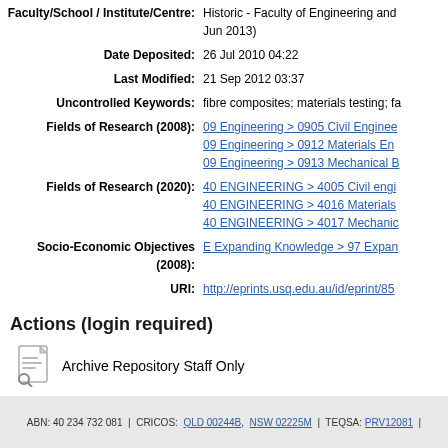Faculty/School / Institute/Centre: Historic - Faculty of Engineering and ... Jun 2013)
Date Deposited: 26 Jul 2010 04:22
Last Modified: 21 Sep 2012 03:37
Uncontrolled Keywords: fibre composites; materials testing; fa...
Fields of Research (2008): 09 Engineering > 0905 Civil Engine... | 09 Engineering > 0912 Materials En... | 09 Engineering > 0913 Mechanical E...
Fields of Research (2020): 40 ENGINEERING > 4005 Civil engi... | 40 ENGINEERING > 4016 Materials... | 40 ENGINEERING > 4017 Mechanic...
Socio-Economic Objectives (2008): E Expanding Knowledge > 97 Expan...
URI: http://eprints.usq.edu.au/id/eprint/85...
Actions (login required)
Archive Repository Staff Only
ABN: 40 234 732 081 | CRICOS: QLD 00244B, NSW 02225M | TEQSA: PRV12081 |